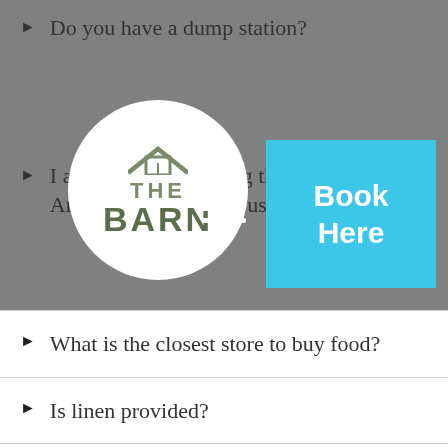Do you have a dump station?
[Figure (logo): The Barn logo - circular white badge with house icon, THE BARN text in green]
I am thinking of taking the bus but. Are you close to the Bus Stop?
What is the closest store to buy food?
Is linen provided?
Can I make a booking for a group?
Our school would like to visit the Abel Tasman, do some adventurous trip, some educational activities and